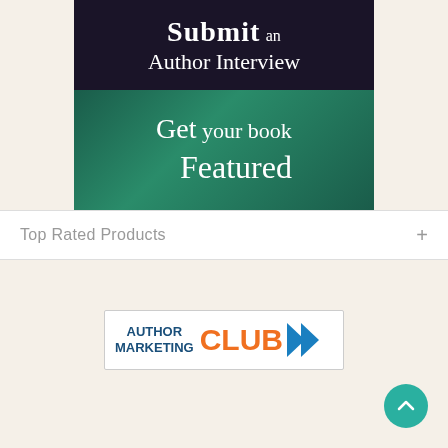[Figure (illustration): Promotional banner with dark purple top section showing 'Submit an Author Interview' and teal/green bottom section showing 'Get your book Featured']
Top Rated Products +
[Figure (logo): Author Marketing Club logo: blue text 'AUTHOR MARKETING' with orange bold 'CLUB' and blue double chevron arrow pointing right]